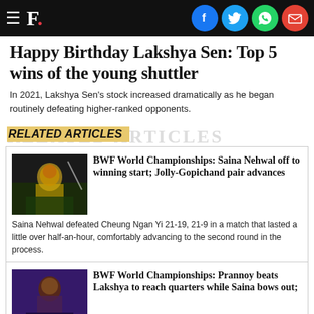F. [Firstpost logo with social share icons: Facebook, Twitter, WhatsApp, Email]
Happy Birthday Lakshya Sen: Top 5 wins of the young shuttler
In 2021, Lakshya Sen's stock increased dramatically as he began routinely defeating higher-ranked opponents.
RELATED ARTICLES
[Figure (photo): Saina Nehwal playing badminton in yellow outfit]
BWF World Championships: Saina Nehwal off to winning start; Jolly-Gopichand pair advances
Saina Nehwal defeated Cheung Ngan Yi 21-19, 21-9 in a match that lasted a little over half-an-hour, comfortably advancing to the second round in the process.
[Figure (photo): Prannoy badminton player in purple/dark background]
BWF World Championships: Prannoy beats Lakshya to reach quarters while Saina bows out;